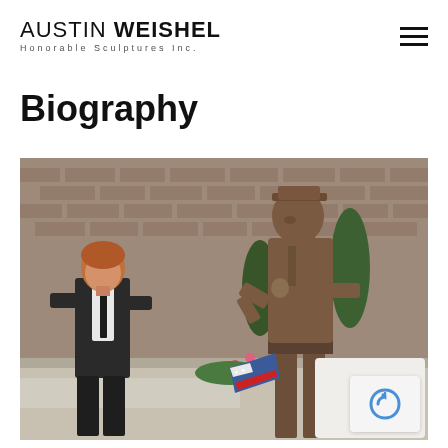AUSTIN WEISHEL Honorable Sculptures Inc.
Biography
[Figure (photo): A man in a dark suit standing next to a large bronze sculpture of a law enforcement officer in uniform holding a folded American flag, set outdoors in front of a brick building with evergreen shrubs and flowers.]